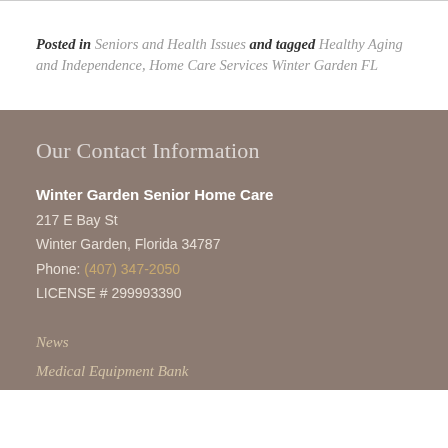Posted in Seniors and Health Issues and tagged Healthy Aging and Independence, Home Care Services Winter Garden FL
Our Contact Information
Winter Garden Senior Home Care
217 E Bay St
Winter Garden, Florida 34787
Phone: (407) 347-2050
LICENSE # 299993390
News
Medical Equipment Bank